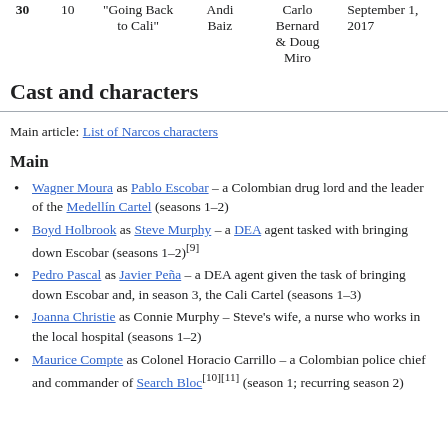| # | Ep | Title | Director | Writer | Air Date |
| --- | --- | --- | --- | --- | --- |
| 30 | 10 | "Going Back to Cali" | Andi Baiz | Carlo Bernard & Doug Miro | September 1, 2017 |
Cast and characters
Main article: List of Narcos characters
Main
Wagner Moura as Pablo Escobar – a Colombian drug lord and the leader of the Medellín Cartel (seasons 1–2)
Boyd Holbrook as Steve Murphy – a DEA agent tasked with bringing down Escobar (seasons 1–2)[9]
Pedro Pascal as Javier Peña – a DEA agent given the task of bringing down Escobar and, in season 3, the Cali Cartel (seasons 1–3)
Joanna Christie as Connie Murphy – Steve's wife, a nurse who works in the local hospital (seasons 1–2)
Maurice Compte as Colonel Horacio Carrillo – a Colombian police chief and commander of Search Bloc[10][11] (season 1; recurring season 2)